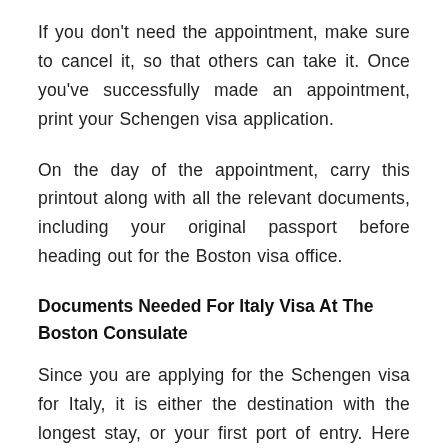If you don't need the appointment, make sure to cancel it, so that others can take it. Once you've successfully made an appointment, print your Schengen visa application.
On the day of the appointment, carry this printout along with all the relevant documents, including your original passport before heading out for the Boston visa office.
Documents Needed For Italy Visa At The Boston Consulate
Since you are applying for the Schengen visa for Italy, it is either the destination with the longest stay, or your first port of entry. Here are the documents you will need: